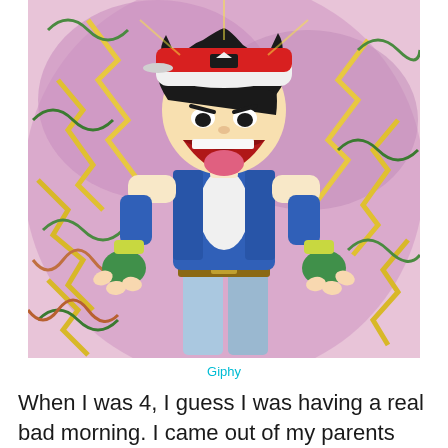[Figure (illustration): Anime illustration of Ash Ketchum from Pokémon screaming with mouth wide open, wearing his iconic red and white cap, blue vest, and green fingerless gloves, with a colorful psychedelic background of yellow, purple, and green swirls and lightning bolt shapes.]
Giphy
When I was 4, I guess I was having a real bad morning. I came out of my parents room after I had woken up and went out to the living room where I sat down in my personal toddler-sized